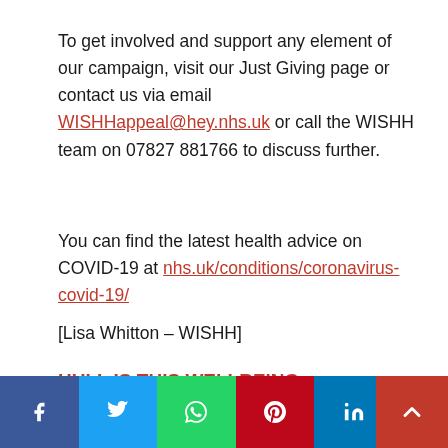To get involved and support any element of our campaign, visit our Just Giving page or contact us via email WISHHappeal@hey.nhs.uk or call the WISHH team on 07827 881766 to discuss further.
You can find the latest health advice on COVID-19 at nhs.uk/conditions/coronavirus-covid-19/
[Lisa Whitton – WISHH]
HULL IS THIS WELLBEING category is sponsored by NHS Hull Clinical Commissioning Group
[Figure (other): Social media share buttons: Facebook, Twitter, WhatsApp, Pinterest, LinkedIn, and a grey button; plus a red scroll-to-top button with an up arrow]